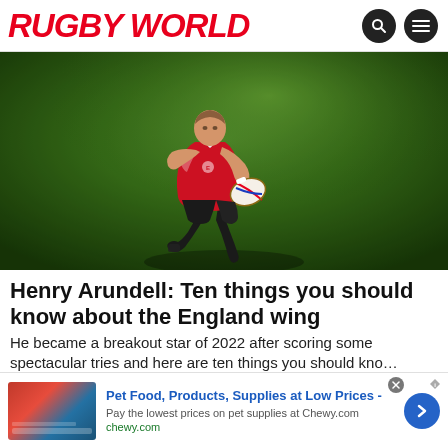RUGBY WORLD
[Figure (photo): Rugby player in red England training kit running with ball tucked under arm, green field background]
Henry Arundell: Ten things you should know about the England wing
He became a breakout star of 2022 after scoring some spectacular tries and here are ten things you should kno…
Rugby World
Pet Food, Products, Supplies at Low Prices - Pay the lowest prices on pet supplies at Chewy.com chewy.com